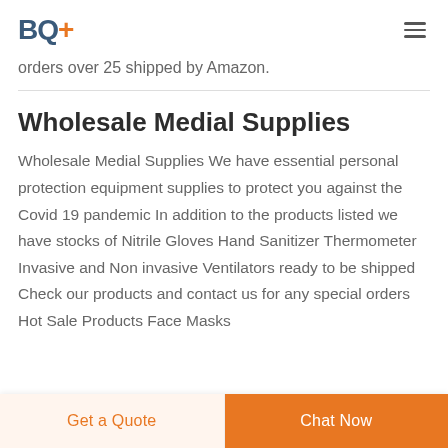BQ+
orders over 25 shipped by Amazon.
Wholesale Medial Supplies
Wholesale Medial Supplies We have essential personal protection equipment supplies to protect you against the Covid 19 pandemic In addition to the products listed we have stocks of Nitrile Gloves Hand Sanitizer Thermometer Invasive and Non invasive Ventilators ready to be shipped Check our products and contact us for any special orders Hot Sale Products Face Masks
Get a Quote | Chat Now